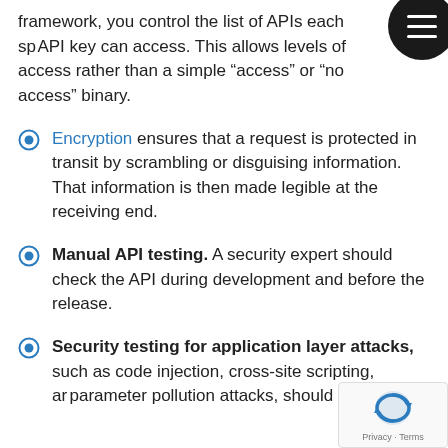framework, you control the list of APIs each specific API key can access. This allows levels of access rather than a simple “access” or “no access” binary.
Encryption ensures that a request is protected in transit by scrambling or disguising information. That information is then made legible at the receiving end.
Manual API testing. A security expert should check the API during development and before the release.
Security testing for application layer attacks, such as code injection, cross-site scripting, and parameter pollution attacks, should be conducted.